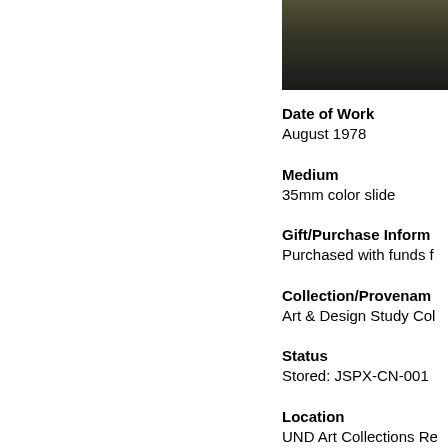[Figure (photo): Partial photo of an artwork or artifact on dark background, cropped at top of page]
Date of Work
August 1978
Medium
35mm color slide
Gift/Purchase Inform...
Purchased with funds f...
Collection/Provenan...
Art & Design Study Col...
Status
Stored: JSPX-CN-001
Location
UND Art Collections Re...
Artist Bio
Born in Brooklyn, New ... in art history from Harv...